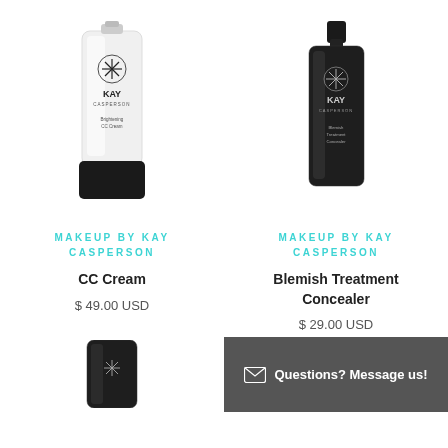[Figure (photo): White tube of Kay Casperson Brightening CC Cream with black cap]
[Figure (photo): Black tube of Kay Casperson Blemish Treatment Concealer]
MAKEUP BY KAY CASPERSON
CC Cream
$ 49.00 USD
MAKEUP BY KAY CASPERSON
Blemish Treatment Concealer
$ 29.00 USD
[Figure (photo): Partial view of black Kay Casperson tube at bottom left]
Questions? Message us!